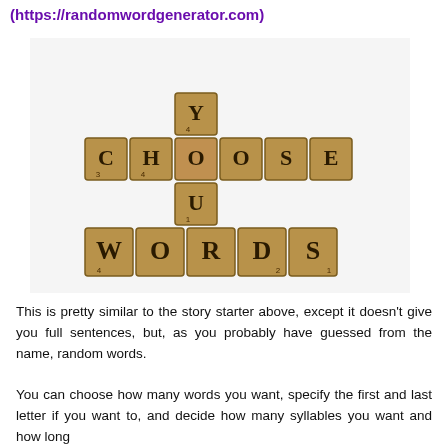(https://randomwordgenerator.com)
[Figure (photo): Scrabble tiles arranged to spell 'CHOOSE YOUR WORDS' in a crossword pattern on a white background.]
This is pretty similar to the story starter above, except it doesn't give you full sentences, but, as you probably have guessed from the name, random words.
You can choose how many words you want, specify the first and last letter if you want to, and decide how many syllables you want and how long the words should be.